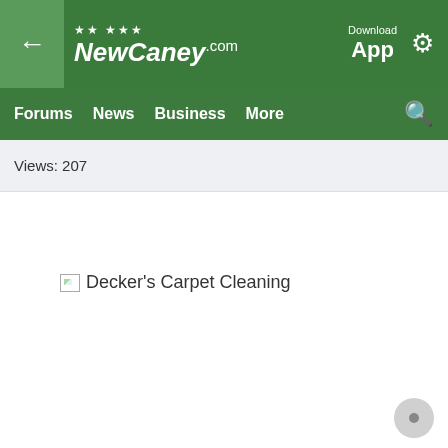[Figure (screenshot): NewCaney.com website header with back button, logo with stars, Download App link, and settings gear icon on green background]
Forums  News  Business  More
Views: 207
[Figure (other): Broken image placeholder for Decker's Carpet Cleaning]